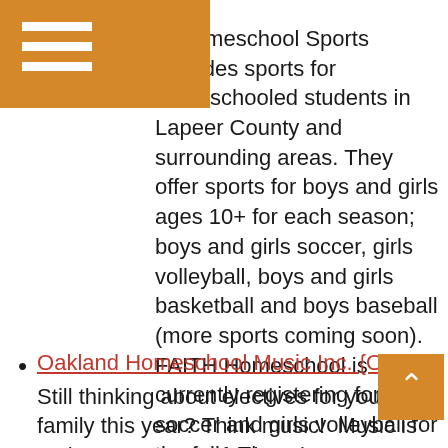H Homeschool Sports provides sports for homeschooled students in Lapeer County and surrounding areas. They offer sports for boys and girls ages 10+ for each season; boys and girls soccer, girls volleyball, boys and girls basketball and boys baseball (more sports coming soon). FAITH Homeschool is currently registering for boys soccer and girls volleyball for the fall.  They ...
Oakland Homeschool Music Inc. {OHMI} Still thinking about electives for your family this year? Think music!  Music is an important part of education. Group music classes can be especially important for many reasons: working together as a team, learning in a group setting from multiple instructors, and forming relationships. For more details about Oakland Homeschool